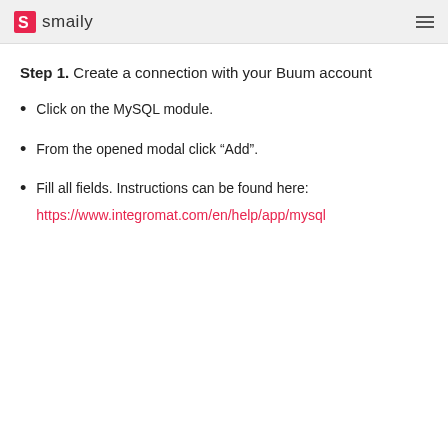smaily
Step 1. Create a connection with your Buum account
Click on the MySQL module.
From the opened modal click “Add”.
Fill all fields. Instructions can be found here: https://www.integromat.com/en/help/app/mysql